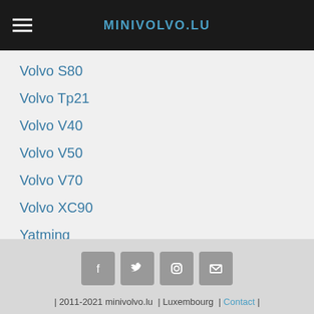MINIVOLVO.LU
Volvo S80
Volvo Tp21
Volvo V40
Volvo V50
Volvo V70
Volvo XC90
Yatming
Zee Toys / Zylmex
| 2011-2021 minivolvo.lu | Luxembourg | Contact |